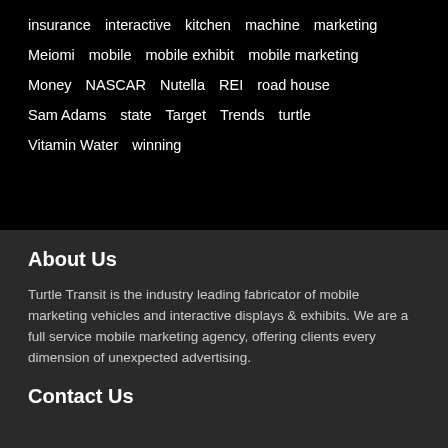insurance
interactive
kitchen
machine
marketing
Meiomi
mobile
mobile exhibit
mobile marketing
Money
NASCAR
Nutella
REI
road house
Sam Adams
state
Target
Trends
turtle
Vitamin Water
winning
About Us
Turtle Transit is the industry leading fabricator of mobile marketing vehicles and interactive displays & exhibits. We are a full service mobile marketing agency, offering clients every dimension of unexpected advertising.
Contact Us